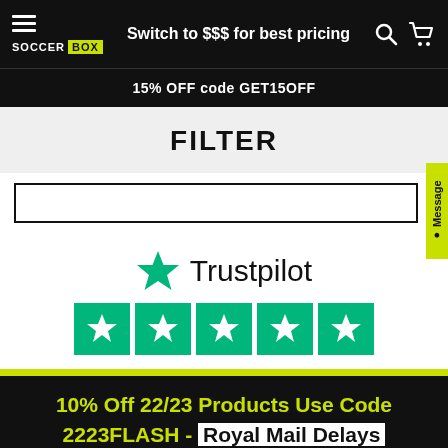SOCCER BOX | Switch to $$$ for best pricing
15% OFF code GET15OFF
FILTER
[Figure (logo): Trustpilot logo with green star and five green star rating boxes]
10% Off 22/23 Products Use Code 2223FLASH - Royal Mail Delays